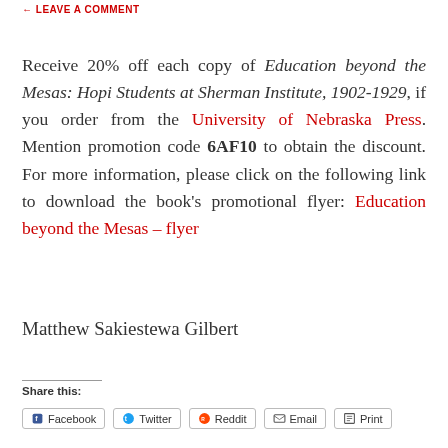LEAVE A COMMENT
Receive 20% off each copy of Education beyond the Mesas: Hopi Students at Sherman Institute, 1902-1929, if you order from the University of Nebraska Press. Mention promotion code 6AF10 to obtain the discount. For more information, please click on the following link to download the book's promotional flyer: Education beyond the Mesas – flyer
Matthew Sakiestewa Gilbert
Share this:
Facebook
Twitter
Reddit
Email
Print